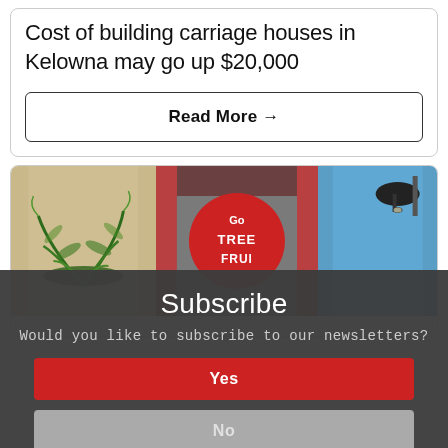Cost of building carriage houses in Kelowna may go up $20,000
Read More →
[Figure (photo): Storefront photo showing fern/plant on wall, a red circular sign reading 'Go Tree Fruit', and a black hanging lamp against a blue sky]
Subscribe
Would you like to subscribe to our newsletters?
Yes
No